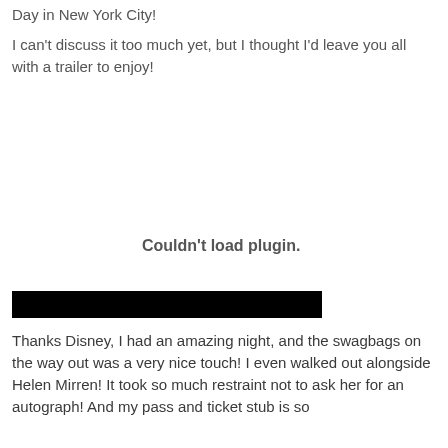Day in New York City!
I can't discuss it too much yet, but I thought I'd leave you all with a trailer to enjoy!
[Figure (other): Embedded plugin area showing 'Couldn't load plugin.' message with a black bar below]
Thanks Disney, I had an amazing night, and the swagbags on the way out was a very nice touch! I even walked out alongside Helen Mirren! It took so much restraint not to ask her for an autograph! And my pass and ticket stub is so